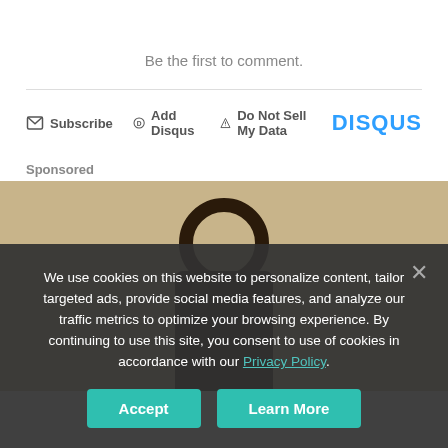Be the first to comment.
Subscribe   Add Disqus   Do Not Sell My Data   DISQUS
Sponsored
[Figure (photo): Sponsored advertisement image showing a dark metallic object (appears to be a padlock or hook) against a sandy/beige textured wall background.]
We use cookies on this website to personalize content, tailor targeted ads, provide social media features, and analyze our traffic metrics to optimize your browsing experience. By continuing to use this site, you consent to use of cookies in accordance with our Privacy Policy.